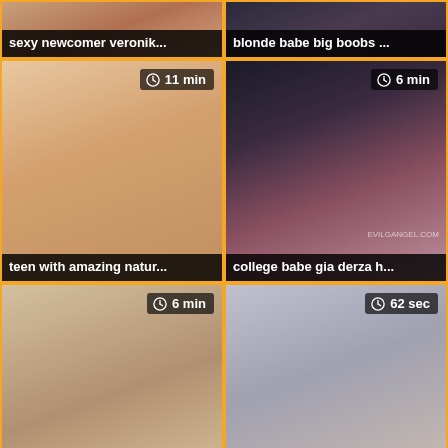[Figure (screenshot): Video thumbnail grid showing adult video titles with durations]
sexy newcomer veronik...
blonde babe big boobs ...
teen with amazing natur...
college babe gia derza h...
hot blonde granny frann...
asian slut getting her w...
(bottom left thumb)
(bottom right thumb)